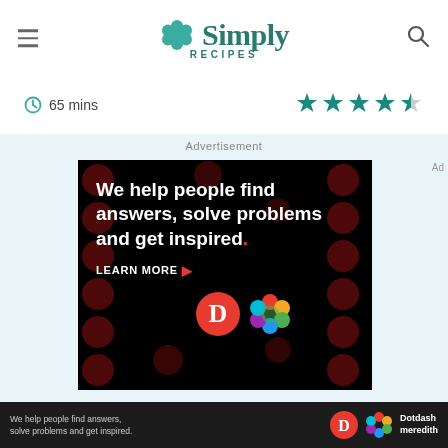[Figure (logo): Simply Recipes logo with teal flower icon and text 'Simply RECIPES']
65 mins
[Figure (other): 4.5 star rating shown with teal filled stars and a half star]
Advertisement
[Figure (other): Dotdash Meredith advertisement on black background with dark red dots pattern. Text: 'We help people find answers, solve problems and get inspired.' with LEARN MORE button and D logo plus colorful flower logo]
[Figure (other): Sticky bottom banner: 'We help people find answers, solve problems and get inspired.' with D logo and Dotdash meredith logo]